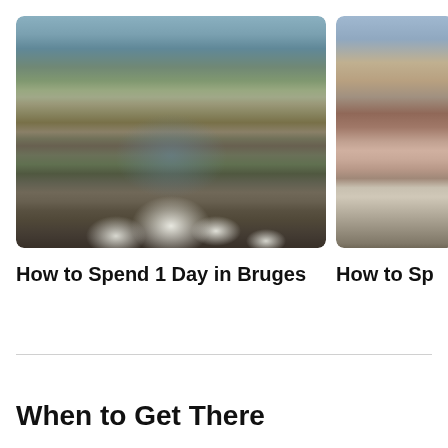[Figure (photo): Canal scene in Bruges with swans on grass, stone bridge, medieval buildings and a church tower in the background, with trees in spring foliage]
How to Spend 1 Day in Bruges
[Figure (photo): Outdoor cafe scene in a Belgian city square with people sitting at tables on a cobblestone street, colorful historic buildings in background]
How to Sp...
When to Get There